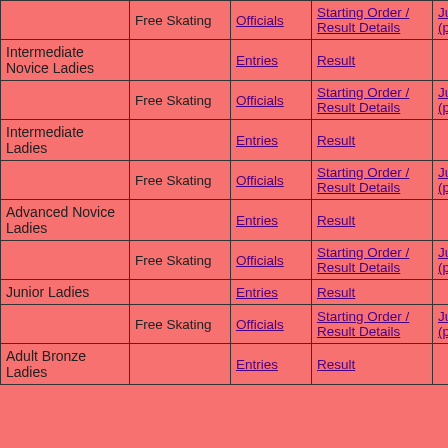| Category | Event | Entries | Results | Judges Scores |
| --- | --- | --- | --- | --- |
|  | Free Skating | Officials | Starting Order / Result Details | Judges Scores (pdf) |
| Intermediate Novice Ladies |  | Entries | Result |  |
|  | Free Skating | Officials | Starting Order / Result Details | Judges Scores (pdf) |
| Intermediate Ladies |  | Entries | Result |  |
|  | Free Skating | Officials | Starting Order / Result Details | Judges Scores (pdf) |
| Advanced Novice Ladies |  | Entries | Result |  |
|  | Free Skating | Officials | Starting Order / Result Details | Judges Scores (pdf) |
| Junior Ladies |  | Entries | Result |  |
|  | Free Skating | Officials | Starting Order / Result Details | Judges Scores (pdf) |
| Adult Bronze Ladies |  | Entries | Result |  |